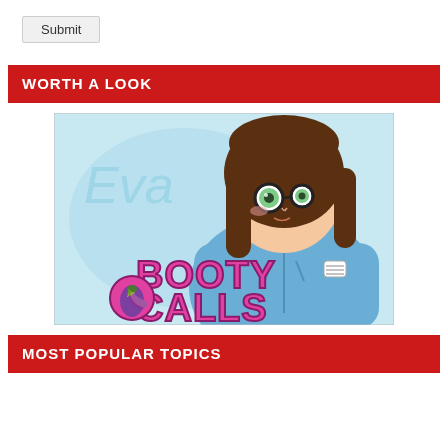Submit
WORTH A LOOK
[Figure (illustration): Anime-style illustration of a girl named Eva wearing glasses and a blue hoodie jacket, with pink bubbly text logo reading 'Booty Calls' with an eggplant emoji, on a light blue background.]
MOST POPULAR TOPICS